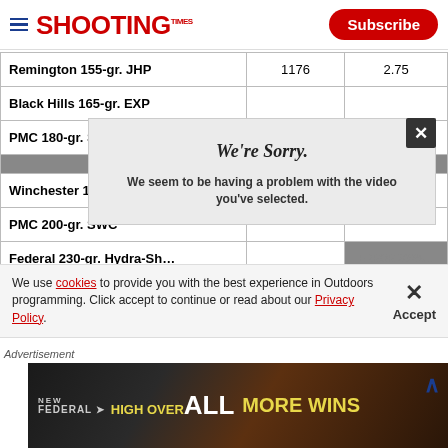Shooting Times — Subscribe
| Ammunition | Velocity | Group |
| --- | --- | --- |
| Remington 155-gr. JHP | 1176 | 2.75 |
| Black Hills 165-gr. EXP |  |  |
| PMC 180-gr. Starfire |  |  |
| [highlighted row] |  |  |
| Winchester 185-gr. Silver… |  |  |
| PMC 200-gr. SWC |  |  |
| Federal 230-gr. Hydra-Sh… |  |  |
[Figure (screenshot): Video error overlay: 'We're Sorry. We seem to be having a problem with the video you've selected.' with close button and error bar.]
We use cookies to provide you with the best experience in Outdoors programming. Click accept to continue or read about our Privacy Policy.
Advertisement
[Figure (photo): Federal High Overall advertisement banner with 'MORE WINS' tagline on dark background with fire imagery.]